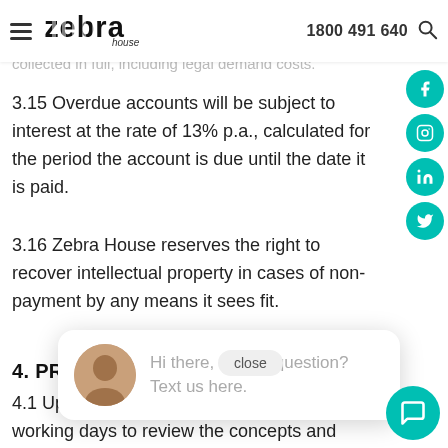Zebra House — 1800 491 640
collected in full, including legal demand costs.
3.15 Overdue accounts will be subject to interest at the rate of 13% p.a., calculated for the period the account is due until the date it is paid.
3.16 Zebra House reserves the right to recover intellectual property in cases of non-payment by any means it sees fit.
4. PROGRESS, C
4.1 Upon deliver you, you have (10) ten working days to review the concepts and communicate in writing to Zebra Ho your preferred concept, and, in addition, any desire changes or corrections in respect of the preferred